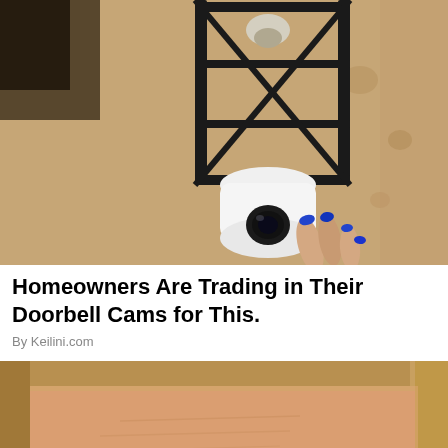[Figure (photo): A white security camera mounted beneath a black metal lantern fixture on a textured beige stucco wall, with a hand with blue painted fingernails touching the camera.]
Homeowners Are Trading in Their Doorbell Cams for This.
By Keilini.com
[Figure (photo): Close-up of a woman's forehead and upper face showing wrinkles, with blonde hair, against a light background.]